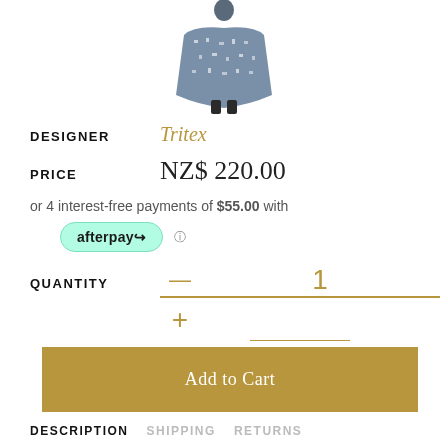[Figure (photo): Photo of a person wearing a blue/white patterned poncho or coat, shown from the torso up, partially cropped at top]
DESIGNER   Tritex
PRICE   NZ$ 220.00
or 4 interest-free payments of $55.00 with
[Figure (logo): Afterpay logo badge with teal/mint green rounded rectangle background]
QUANTITY   — 1 +
Add to Cart
DESCRIPTION   SHIPPING   RETURNS